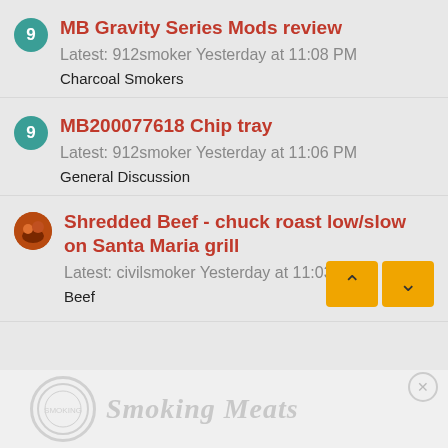MB Gravity Series Mods review
Latest: 912smoker Yesterday at 11:08 PM
Charcoal Smokers
MB200077618 Chip tray
Latest: 912smoker Yesterday at 11:06 PM
General Discussion
Shredded Beef - chuck roast low/slow on Santa Maria grill
Latest: civilsmoker Yesterday at 11:03 PM
Beef
[Figure (logo): Smoking Meat forums logo with circular badge and stylized text in gray watermark style]